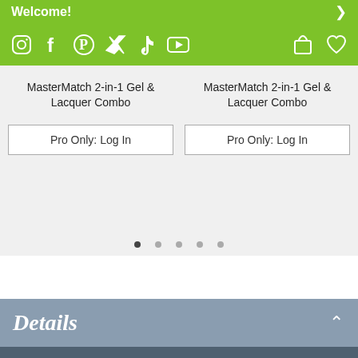Welcome!
[Figure (screenshot): Social media icons (Instagram, Facebook, Pinterest, Twitter, TikTok, YouTube) and shopping cart / heart icons on green navigation bar]
MasterMatch 2-in-1 Gel & Lacquer Combo
Pro Only: Log In
MasterMatch 2-in-1 Gel & Lacquer Combo
Pro Only: Log In
Details
Behold our professional gel and lacquer combo which matches perfectly with SNS Gelous Color dip powders. Your customers will love coordinating manicures and